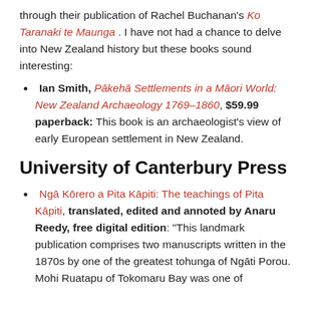through their publication of Rachel Buchanan's Ko Taranaki te Maunga. I have not had a chance to delve into New Zealand history but these books sound interesting:
Ian Smith, Pākehā Settlements in a Māori World: New Zealand Archaeology 1769–1860, $59.99 paperback: This book is an archaeologist's view of early European settlement in New Zealand.
University of Canterbury Press
Ngā Kōrero a Pita Kāpiti: The teachings of Pita Kāpiti, translated, edited and annoted by Anaru Reedy, free digital edition: "This landmark publication comprises two manuscripts written in the 1870s by one of the greatest tohunga of Ngāti Porou. Mohi Ruatapu of Tokomaru Bay was one of